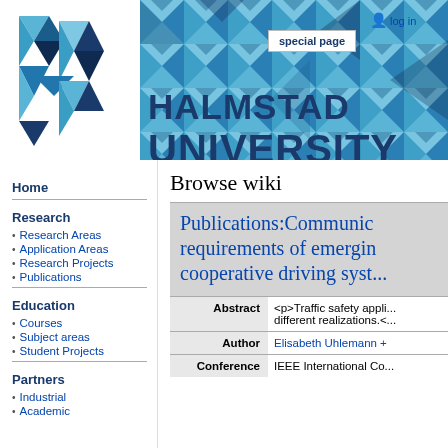[Figure (logo): Halmstad University logo with geometric blue triangles and H letterform on left, large text HALMSTAD UNIVERSITY on right with blue triangle pattern background. Special page button and log in link visible in top right.]
Home
Research
Research Areas
Application Areas
Research Projects
Publications
Education
Courses
Subject areas
Student Projects
Partners
Industrial
Academic
Browse wiki
Publications:Communication requirements of emerging cooperative driving systems
| Field | Value |
| --- | --- |
| Abstract | <p>Traffic safety applications... different realizations.</p> |
| Author | Elisabeth Uhlemann + ... |
| Conference | IEEE International Co... |